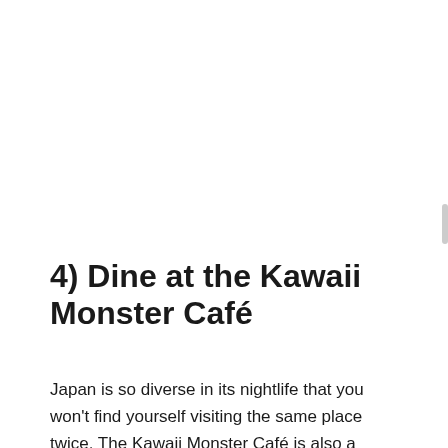4) Dine at the Kawaii Monster Café
Japan is so diverse in its nightlife that you won't find yourself visiting the same place twice. The Kawaii Monster Café is also a popular tourist destination, and it comes to life at night. It